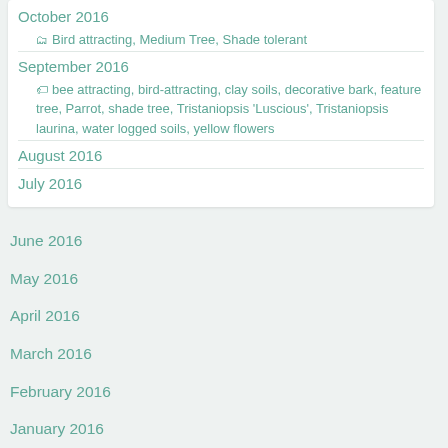October 2016 — Bird attracting, Medium Tree, Shade tolerant
September 2016 — bee attracting, bird-attracting, clay soils, decorative bark, feature tree, Parrot, shade tree, Tristaniopsis 'Luscious', Tristaniopsis laurina, water logged soils, yellow flowers
August 2016
July 2016
June 2016
May 2016
April 2016
March 2016
February 2016
January 2016
December 2015
November 2015
October 2015
September 2015